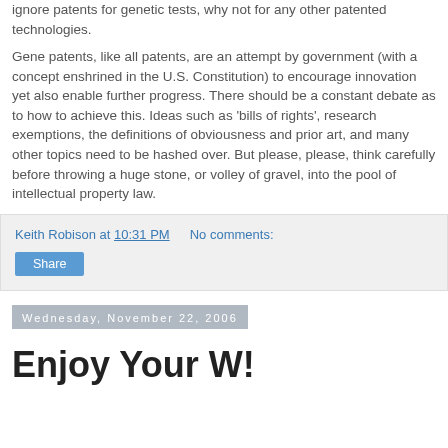ignore patents for genetic tests, why not for any other patented technologies.
Gene patents, like all patents, are an attempt by government (with a concept enshrined in the U.S. Constitution) to encourage innovation yet also enable further progress. There should be a constant debate as to how to achieve this. Ideas such as 'bills of rights', research exemptions, the definitions of obviousness and prior art, and many other topics need to be hashed over. But please, please, think carefully before throwing a huge stone, or volley of gravel, into the pool of intellectual property law.
Keith Robison at 10:31 PM   No comments:
Share
Wednesday, November 22, 2006
Enjoy Your W!